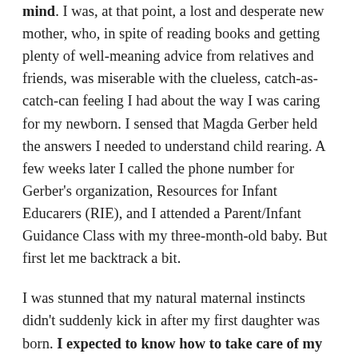mind. I was, at that point, a lost and desperate new mother, who, in spite of reading books and getting plenty of well-meaning advice from relatives and friends, was miserable with the clueless, catch-as-catch-can feeling I had about the way I was caring for my newborn. I sensed that Magda Gerber held the answers I needed to understand child rearing. A few weeks later I called the phone number for Gerber's organization, Resources for Infant Educarers (RIE), and I attended a Parent/Infant Guidance Class with my three-month-old baby. But first let me backtrack a bit.
I was stunned that my natural maternal instincts didn't suddenly kick in after my first daughter was born. I expected to know how to take care of my baby. I found that I did not, and the constant uncertainty was draining.